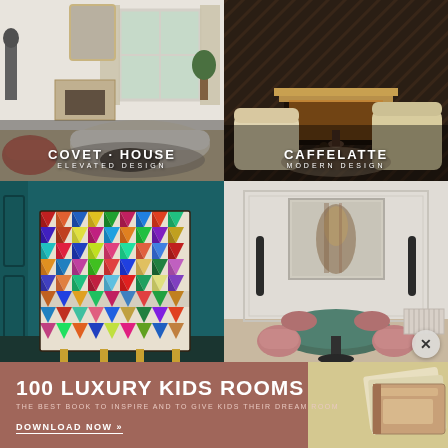[Figure (photo): Luxury white living room with curved sofa, marble fireplace, ornate mirror, and accent furniture. Covet House brand overlay.]
[Figure (photo): Dark elegant living room with wood-paneled walls, fireplace, cream armchairs and round coffee table. Caffelatte brand overlay.]
[Figure (photo): Colorful geometric patterned cabinet in teal room with diamond mosaic design on brass legs.]
[Figure (photo): Elegant dining room with green round table, pink velvet chairs, abstract wall art, and slim wall sconces.]
100 LUXURY KIDS ROOMS
THE BEST BOOK TO INSPIRE AND TO GIVE KIDS THEIR DREAM ROOM
DOWNLOAD NOW »